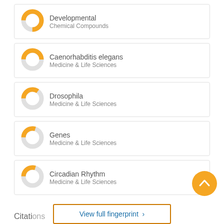[Figure (donut-chart): Donut chart icon for Developmental Chemical Compounds, mostly filled orange]
Developmental
Chemical Compounds
[Figure (donut-chart): Donut chart icon for Caenorhabditis elegans, about half filled orange]
Caenorhabditis elegans
Medicine & Life Sciences
[Figure (donut-chart): Donut chart icon for Drosophila, about 35% filled orange]
Drosophila
Medicine & Life Sciences
[Figure (donut-chart): Donut chart icon for Genes, about 30% filled orange]
Genes
Medicine & Life Sciences
[Figure (donut-chart): Donut chart icon for Circadian Rhythm, about 30% filled orange]
Circadian Rhythm
Medicine & Life Sciences
View full fingerprint >
Citations